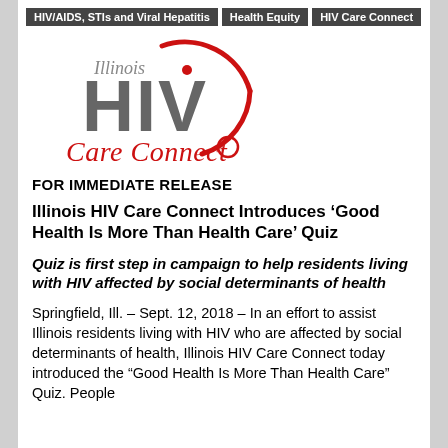HIV/AIDS, STIs and Viral Hepatitis | Health Equity
HIV Care Connect
[Figure (logo): Illinois HIV Care Connect logo with red circular arc, large gray 'HIV' letters, and red 'Care Connect' text below]
FOR IMMEDIATE RELEASE
Illinois HIV Care Connect Introduces ‘Good Health Is More Than Health Care’ Quiz
Quiz is first step in campaign to help residents living with HIV affected by social determinants of health
Springfield, Ill. – Sept. 12, 2018 – In an effort to assist Illinois residents living with HIV who are affected by social determinants of health, Illinois HIV Care Connect today introduced the “Good Health Is More Than Health Care” Quiz. People